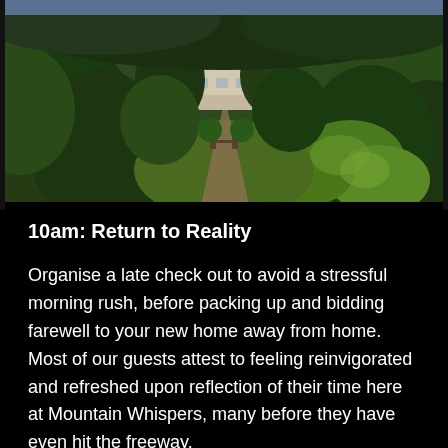[Figure (photo): Aerial drone photo of a country homestead with a teal/green roof surrounded by lush green trees and gardens, with a path leading up to the house.]
10am: Return to Reality
Organise a late check out to avoid a stressful morning rush, before packing up and bidding farewell to your new home away from home.  Most of our guests attest to feeling reinvigorated and refreshed upon reflection of their time here at Mountain Whispers, many before they have even hit the freeway.